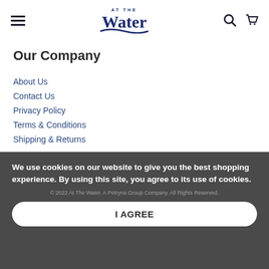At The Water — navigation header with hamburger menu, logo, search icon, and cart icon
Our Company
About Us
Contact Us
Privacy Policy
Terms & Conditions
Shipping & Returns
Need a hand?
Get in touch by email and we'll be sure to get back to you within 48hrs, Mon-Fri 9 a.m.–9 p.m. ET.
We use cookies on our website to give you the best shopping experience. By using this site, you agree to its use of cookies.
© 2022 At The Water. A Petryna Group Company. All Rights Reserved.
I AGREE